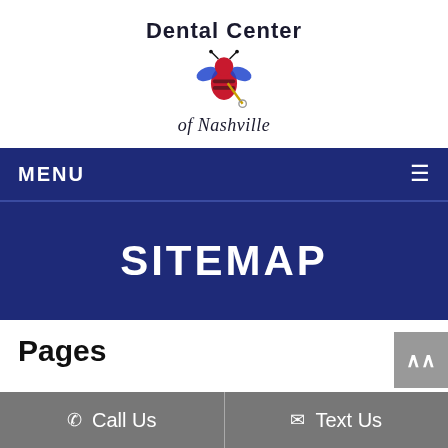[Figure (logo): Dental Center of Nashville logo with a bee mascot holding a dental tool, text 'Dental Center' at top and 'of Nashville' in italic script below]
MENU ☰
SITEMAP
Pages
Call Us   Text Us